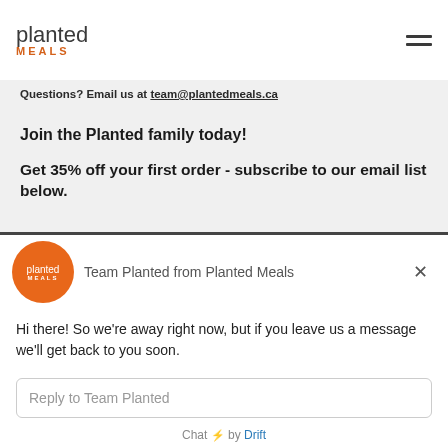[Figure (logo): Planted Meals logo — 'planted' in dark grey and 'MEALS' in orange below]
Questions? Email us at team@plantedmeals.ca
Join the Planted family today!
Get 35% off your first order - subscribe to our email list below.
[Figure (screenshot): Drift chat widget overlay showing Planted Meals avatar, agent name 'Team Planted from Planted Meals', a message 'Hi there! So we're away right now, but if you leave us a message we'll get back to you soon.', a reply input box, and 'Chat ⚡ by Drift' footer]